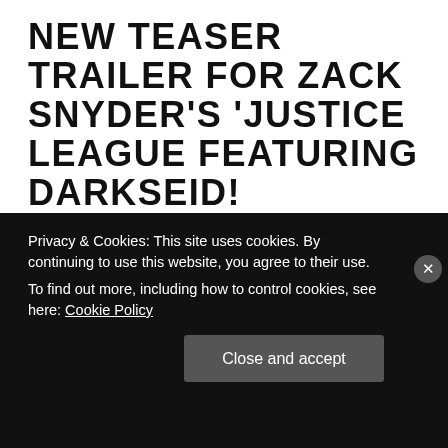NEW TEASER TRAILER FOR ZACK SNYDER'S 'JUSTICE LEAGUE FEATURING DARKSEID!
Posted on March 9, 2021 in DC, Movies, News
We got a new teaser trailer featuring Darkesid for Zack Snyder's Justice League, and he sounds awesome! Here's the trailer: https://youtu.be/CarcIw-KegQ Snyder's Darkseid is growing on me, and I can't wait to see what he'll do
Privacy & Cookies: This site uses cookies. By continuing to use this website, you agree to their use.
To find out more, including how to control cookies, see here: Cookie Policy
Close and accept